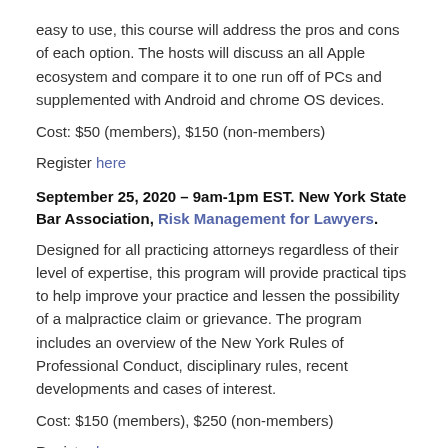easy to use, this course will address the pros and cons of each option. The hosts will discuss an all Apple ecosystem and compare it to one run off of PCs and supplemented with Android and chrome OS devices.
Cost: $50 (members), $150 (non-members)
Register here
September 25, 2020 – 9am-1pm EST. New York State Bar Association, Risk Management for Lawyers.
Designed for all practicing attorneys regardless of their level of expertise, this program will provide practical tips to help improve your practice and lessen the possibility of a malpractice claim or grievance. The program includes an overview of the New York Rules of Professional Conduct, disciplinary rules, recent developments and cases of interest.
Cost: $150 (members), $250 (non-members)
Register here
September 29, 2020 – 12pm-1pm EST. New York State Bar